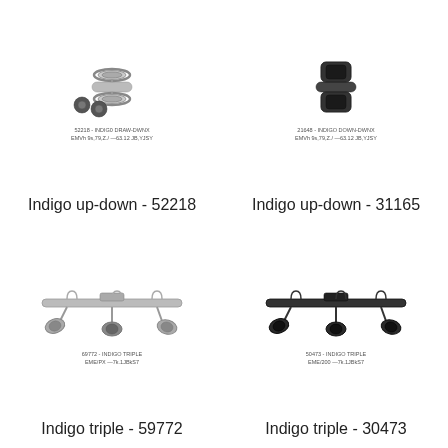[Figure (photo): Indigo up-down wall light fixture 52218, silver/chrome finish with rings, small label below]
Indigo up-down - 52218
[Figure (photo): Indigo up-down wall light fixture 31165, black finish, small label below]
Indigo up-down - 31165
[Figure (photo): Indigo triple ceiling spotlight bar 59772, silver/chrome finish with three adjustable spots, small label below]
Indigo triple - 59772
[Figure (photo): Indigo triple ceiling spotlight bar 30473, black finish with three adjustable spots, small label below]
Indigo triple - 30473